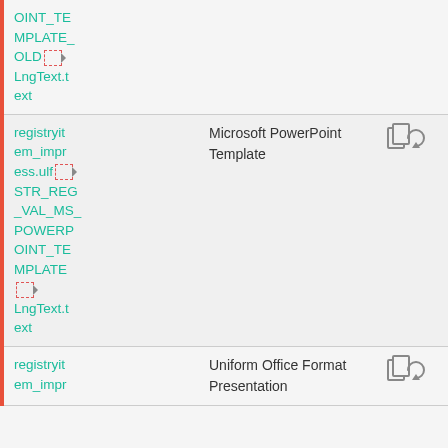| Key | Value | Actions |
| --- | --- | --- |
| OINT_TEMPLATE_OLD↵ LngText.text |  |  |
| registryitem_impress.ulf↵ STR_REG_VAL_MS_POWERPOINT_TEMPLATE↵ LngText.text | Microsoft PowerPoint Template | copy refresh |
| registryitem_impr Presentation | Uniform Office Format Presentation | copy refresh |